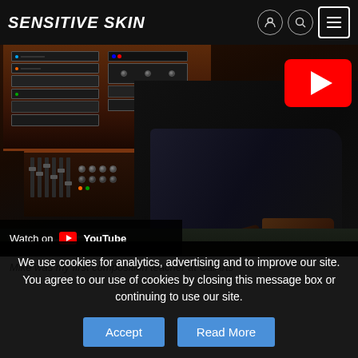Sensitive Skin
[Figure (screenshot): YouTube embedded video showing a person seated in a recording studio with equipment and mixing console. Shows 'Watch on YouTube' overlay bar at bottom-left and a YouTube play button at top-right.]
Mike was my first composition teacher at CalArts
We use cookies for analytics, advertising and to improve our site. You agree to our use of cookies by closing this message box or continuing to use our site.
Accept
Read More